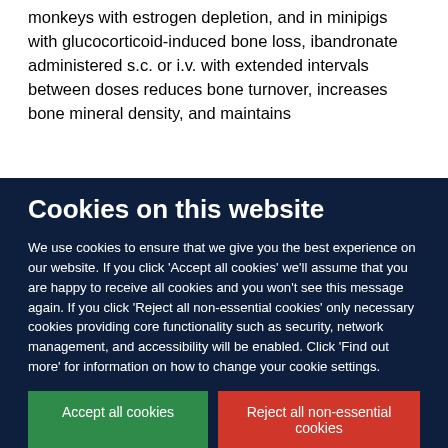monkeys with estrogen depletion, and in minipigs with glucocorticoid-induced bone loss, ibandronate administered s.c. or i.v. with extended intervals between doses reduces bone turnover, increases bone mineral density, and maintains
Cookies on this website
We use cookies to ensure that we give you the best experience on our website. If you click 'Accept all cookies' we'll assume that you are happy to receive all cookies and you won't see this message again. If you click 'Reject all non-essential cookies' only necessary cookies providing core functionality such as security, network management, and accessibility will be enabled. Click 'Find out more' for information on how to change your cookie settings.